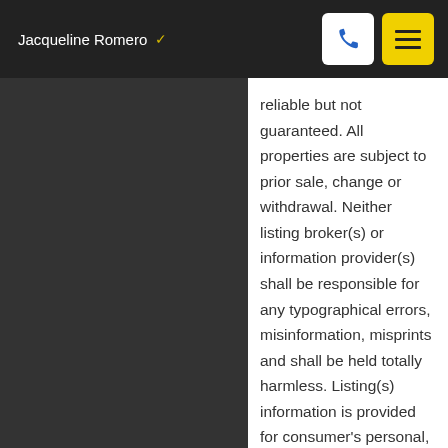Jacqueline Romero
reliable but not guaranteed. All properties are subject to prior sale, change or withdrawal. Neither listing broker(s) or information provider(s) shall be responsible for any typographical errors, misinformation, misprints and shall be held totally harmless. Listing(s) information is provided for consumer's personal, non-commercial use and may not be used for any